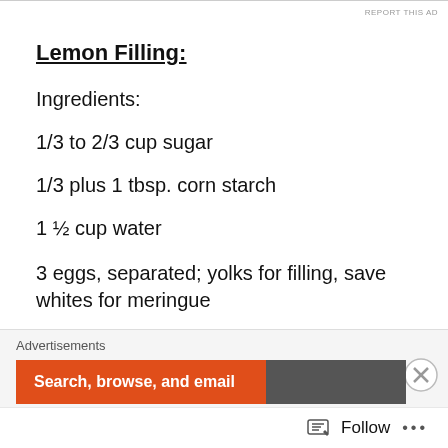Lemon Filling:
Ingredients:
1/3 to 2/3 cup sugar
1/3 plus 1 tbsp. corn starch
1 ½ cup water
3 eggs, separated; yolks for filling, save whites for meringue
1-2 tsp. lemon zest
Advertisements  Search, browse, and email  Follow  ...